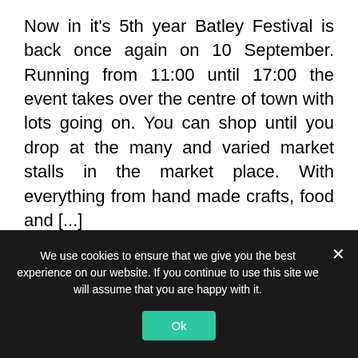Now in it's 5th year Batley Festival is back once again on 10 September. Running from 11:00 until 17:00 the event takes over the centre of town with lots going on. You can shop until you drop at the many and varied market stalls in the market place. With everything from hand made crafts, food and [...]
READ MORE
We use cookies to ensure that we give you the best experience on our website. If you continue to use this site we will assume that you are happy with it.
Ok